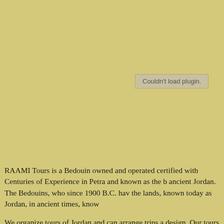[Figure (other): Plugin placeholder area showing 'Couldn't load plugin.' error message on tan/khaki background]
RAAMI Tours is a Bedouin owned and operated certified with Centuries of Experience in Petra and known as the b ancient Jordan. The Bedouins, who since 1900 B.C. hav the lands, known today as Jordan, in ancient times, know
We organize tours of Jordan and can arrange trips a design. Our tours can begin from Amman, Agaba, Egypt,